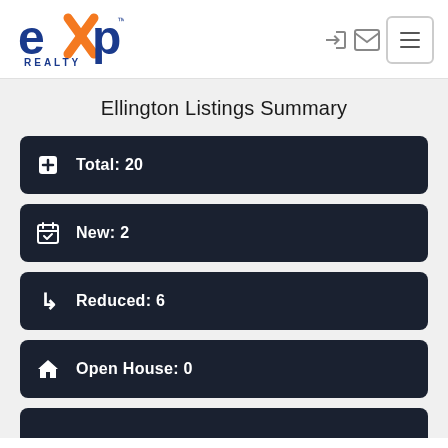[Figure (logo): eXp Realty logo with orange X and blue text]
Ellington Listings Summary
Total: 20
New: 2
Reduced: 6
Open House: 0